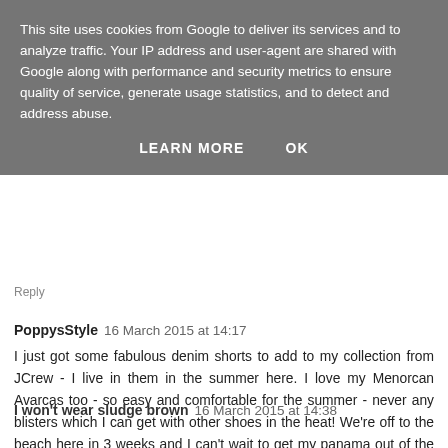This site uses cookies from Google to deliver its services and to analyze traffic. Your IP address and user-agent are shared with Google along with performance and security metrics to ensure quality of service, generate usage statistics, and to detect and address abuse.
LEARN MORE   OK
Reply
PoppysStyle  16 March 2015 at 14:17
I just got some fabulous denim shorts to add to my collection from JCrew - I live in them in the summer here. I love my Menorcan Avarcas too - so easy and comfortable for the summer - never any blisters which I can get with other shoes in the heat! We're off to the beach here in 3 weeks and I can't wait to get my panama out of the closet! xx
Reply
I won't wear sludge brown  16 March 2015 at 14:38
It is just to let you know that you can use and this, I am sue the d...